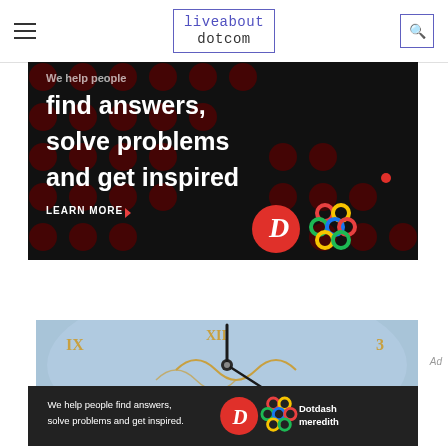liveabout dotcom
[Figure (photo): Dotdash Meredith advertisement on dark background with polka dot pattern. Text reads: 'We help people find answers, solve problems and get inspired.' with LEARN MORE button and Dotdash Meredith logos.]
[Figure (photo): Close-up of an ornate astronomical clock face with Roman numerals and decorative golden hands.]
[Figure (photo): Dotdash Meredith bottom sticky advertisement bar. Text: 'We help people find answers, solve problems and get inspired.' with Dotdash Meredith logo.]